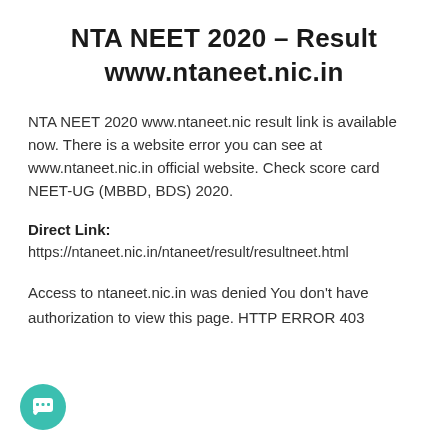NTA NEET 2020 – Result www.ntaneet.nic.in
NTA NEET 2020 www.ntaneet.nic result link is available now. There is a website error you can see at www.ntaneet.nic.in official website. Check score card NEET-UG (MBBD, BDS) 2020.
Direct Link:
https://ntaneet.nic.in/ntaneet/result/resultneet.html
Access to ntaneet.nic.in was denied You don't have authorization to view this page. HTTP ERROR 403